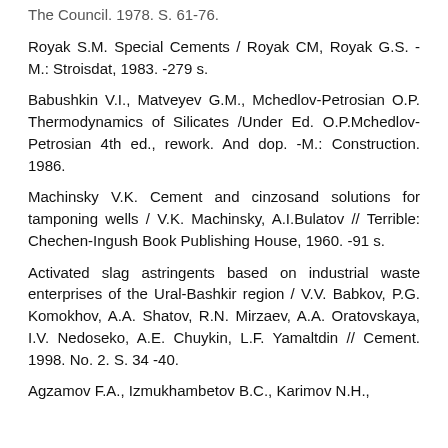The Council. 1978. S. 61-76.
Royak S.M. Special Cements / Royak CM, Royak G.S. - M.: Stroisdat, 1983. -279 s.
Babushkin V.I., Matveyev G.M., Mchedlov-Petrosian O.P. Thermodynamics of Silicates /Under Ed. O.P.Mchedlov-Petrosian 4th ed., rework. And dop. -M.: Construction. 1986.
Machinsky V.K. Cement and cinzosand solutions for tamponing wells / V.K. Machinsky, A.I.Bulatov // Terrible: Chechen-Ingush Book Publishing House, 1960. -91 s.
Activated slag astringents based on industrial waste enterprises of the Ural-Bashkir region / V.V. Babkov, P.G. Komokhov, A.A. Shatov, R.N. Mirzaev, A.A. Oratovskaya, I.V. Nedoseko, A.E. Chuykin, L.F. Yamaltdin // Cement. 1998. No. 2. S. 34 -40.
Agzamov F.A., Izmukhambetov B.C., Karimov N.H.,